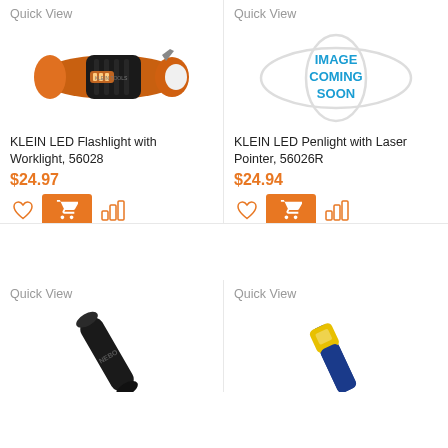Quick View
[Figure (photo): Klein LED Flashlight with Worklight - orange and black flashlight]
KLEIN LED Flashlight with Worklight, 56028
$24.97
Quick View
[Figure (illustration): Image Coming Soon placeholder graphic with two overlapping ellipses]
KLEIN LED Penlight with Laser Pointer, 56026R
$24.94
Quick View
[Figure (photo): Partial view of a black NEBO flashlight]
Quick View
[Figure (photo): Partial view of a blue and yellow flashlight/tool]